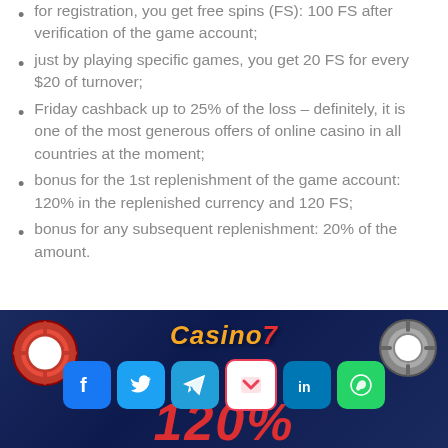for registration, you get free spins (FS): 100 FS after verification of the game account;
just by playing specific games, you get 20 FS for every $20 of turnover;
Friday cashback up to 25% of the loss – definitely, it is one of the most generous offers of online casino in all countries at the moment;
bonus for the 1st replenishment of the game account: 120% in the replenished currency and 120 FS;
bonus for any subsequent replenishment: 20% of the amount.
[Figure (illustration): Casino7 banner with logo, social media share icons (Facebook, Twitter, Telegram, Pocket, LinkedIn, WhatsApp), casino chips, and large red 120% text at the bottom.]